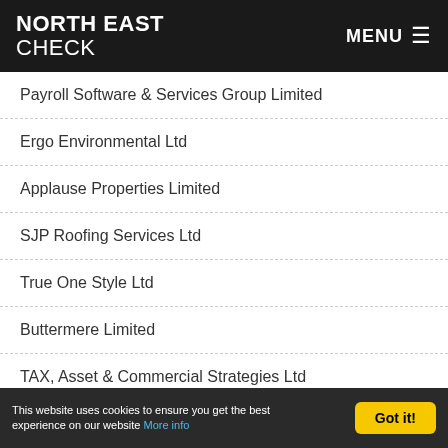NORTH EAST CHECK | MENU
Payroll Software & Services Group Limited
Ergo Environmental Ltd
Applause Properties Limited
SJP Roofing Services Ltd
True One Style Ltd
Buttermere Limited
TAX, Asset & Commercial Strategies Ltd
This website uses cookies to ensure you get the best experience on our website More info | Got it!